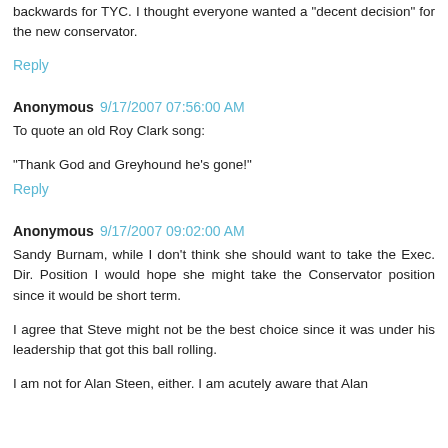backwards for TYC. I thought everyone wanted a "decent decision" for the new conservator.
Reply
Anonymous 9/17/2007 07:56:00 AM
To quote an old Roy Clark song:
"Thank God and Greyhound he's gone!"
Reply
Anonymous 9/17/2007 09:02:00 AM
Sandy Burnam, while I don't think she should want to take the Exec. Dir. Position I would hope she might take the Conservator position since it would be short term.
I agree that Steve might not be the best choice since it was under his leadership that got this ball rolling.
I am not for Alan Steen, either. I am acutely aware that Alan